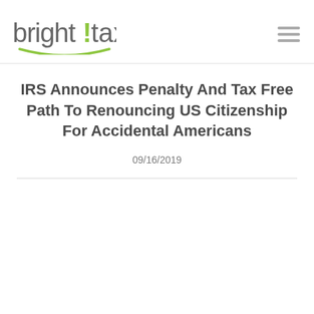bright!tax
IRS Announces Penalty And Tax Free Path To Renouncing US Citizenship For Accidental Americans
09/16/2019